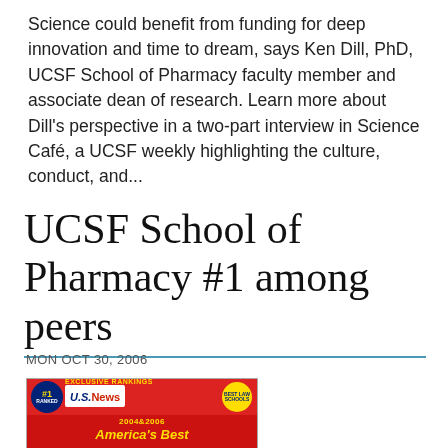Science could benefit from funding for deep innovation and time to dream, says Ken Dill, PhD, UCSF School of Pharmacy faculty member and associate dean of research. Learn more about Dill's perspective in a two-part interview in Science Café, a UCSF weekly highlighting the culture, conduct, and...
UCSF School of Pharmacy #1 among peers
MON OCT 30, 2006
[Figure (photo): U.S. News & World Report magazine cover for America's Best Graduate Schools, featuring bold red and yellow text.]